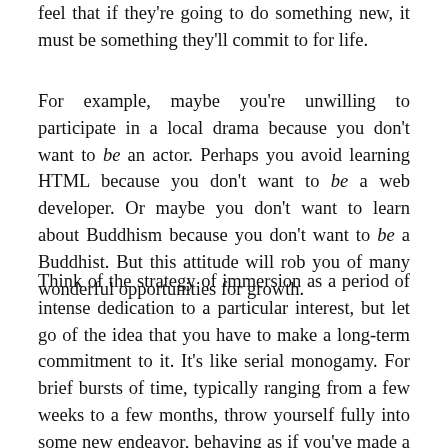feel that if they're going to do something new, it must be something they'll commit to for life.
For example, maybe you're unwilling to participate in a local drama because you don't want to be an actor. Perhaps you avoid learning HTML because you don't want to be a web developer. Or maybe you don't want to learn about Buddhism because you don't want to be a Buddhist. But this attitude will rob you of many wonderful opportunities for growth.
Think of the strategy of immersion as a period of intense dedication to a particular interest, but let go of the idea that you have to make a long-term commitment to it. It's like serial monogamy. For brief bursts of time, typically ranging from a few weeks to a few months, throw yourself fully into some new endeavor, behaving as if you've made a lifelong commitment to it but without actually making that commitment. If you fall in love with your new interest, you can keep going as long as you like. But there's no shame in quitting as soon as you decide it's time to move